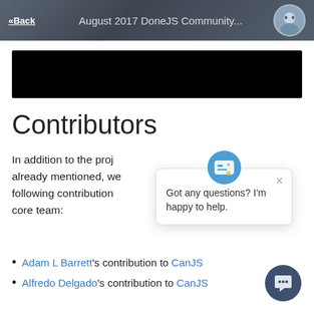«Back  August 2017 DoneJS Community...
[Figure (other): Black banner image area]
Contributors
In addition to the proj already mentioned, we following contribution core team:
[Figure (screenshot): Chat popup widget with message: Got any questions? I'm happy to help.]
Adam L Barrett's contribution to CanJS
Alfredo Delgado's contribution to CanJS